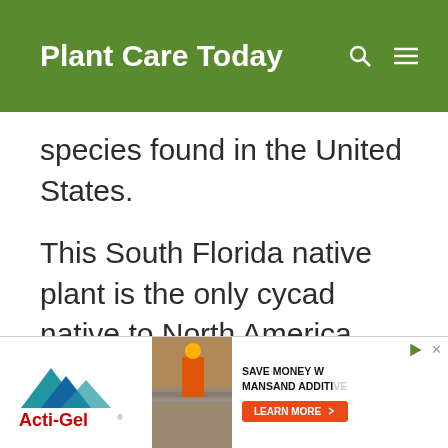Plant Care Today
species found in the United States.
This South Florida native plant is the only cycad native to North America.
[Figure (other): Advertisement banner for Acti-Gel product with logo, construction image, and 'SAVE MONEY W MANSAND ADDITIVE' text with a LEARN MORE button]